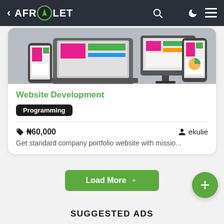< AFROLET
[Figure (screenshot): Screenshot of a laptop, desktop monitor, and smartphone displaying colorful app/website interfaces on a gray background]
Website Development
Programming
₦60,000   ekulie
Get standard company portfolio website with missio...
Load More
SUGGESTED ADS